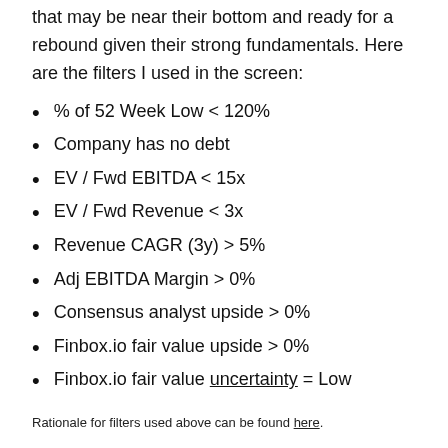that may be near their bottom and ready for a rebound given their strong fundamentals. Here are the filters I used in the screen:
% of 52 Week Low < 120%
Company has no debt
EV / Fwd EBITDA < 15x
EV / Fwd Revenue < 3x
Revenue CAGR (3y) > 5%
Adj EBITDA Margin > 0%
Consensus analyst upside > 0%
Finbox.io fair value upside > 0%
Finbox.io fair value uncertainty = Low
Rationale for filters used above can be found here.